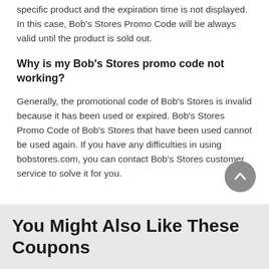specific product and the expiration time is not displayed. In this case, Bob's Stores Promo Code will be always valid until the product is sold out.
Why is my Bob's Stores promo code not working?
Generally, the promotional code of Bob's Stores is invalid because it has been used or expired. Bob's Stores Promo Code of Bob's Stores that have been used cannot be used again. If you have any difficulties in using bobstores.com, you can contact Bob's Stores customer service to solve it for you.
You Might Also Like These Coupons